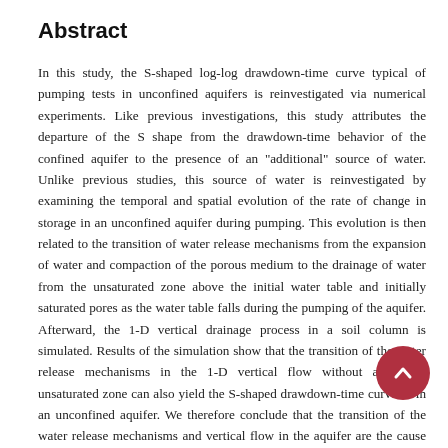Abstract
In this study, the S-shaped log-log drawdown-time curve typical of pumping tests in unconfined aquifers is reinvestigated via numerical experiments. Like previous investigations, this study attributes the departure of the S shape from the drawdown-time behavior of the confined aquifer to the presence of an "additional" source of water. Unlike previous studies, this source of water is reinvestigated by examining the temporal and spatial evolution of the rate of change in storage in an unconfined aquifer during pumping. This evolution is then related to the transition of water release mechanisms from the expansion of water and compaction of the porous medium to the drainage of water from the unsaturated zone above the initial water table and initially saturated pores as the water table falls during the pumping of the aquifer. Afterward, the 1-D vertical drainage process in a soil column is simulated. Results of the simulation show that the transition of the water release mechanisms in the 1-D vertical flow without an initial unsaturated zone can also yield the S-shaped drawdown-time curve as in an unconfined aquifer. We therefore conclude that the transition of the water release mechanisms and vertical flow in the aquifer are the cause of the